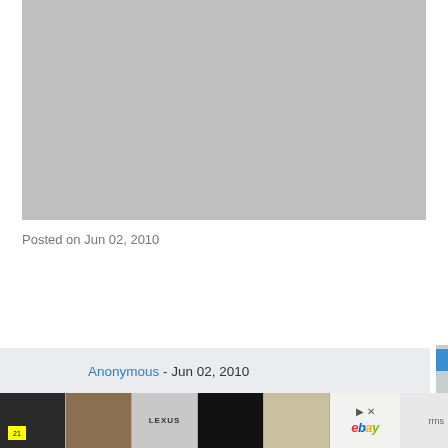[Figure (photo): Large grey placeholder image area at top of page]
Posted on Jun 02, 2010
Anonymous - Jun 02, 2010
[Figure (screenshot): Advertisement bar showing product thumbnails and eBay logo]